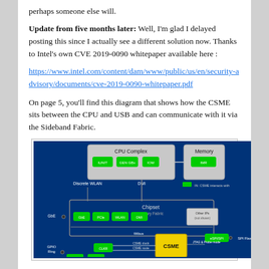perhaps someone else will.
Update from five months later: Well, I'm glad I delayed posting this since I actually see a different solution now. Thanks to Intel's own CVE 2019-0090 whitepaper available here :
https://www.intel.com/content/dam/www/public/us/en/security-advisory/documents/cve-2019-0090-whitepaper.pdf
On page 5, you'll find this diagram that shows how the CSME sits between the CPU and USB and can communicate with it via the Sideband Fabric.
[Figure (engineering-diagram): Intel architecture diagram showing CPU Complex (with IUNIT, GEN GBx, IOMs), Memory (IMR), Chipset Primary Fabric (GbE, PCIe, WLAN, DMI, Other IPs), CSME block, GPIO Ring, SPI Flash, eSPI/SPI, and various interconnects including DMI, Discrete WLAN, Wibus, CSME clock/route signals, JTAG and Probe mode. Shows how CSME sits between CPU and USB communicating via Sideband Fabric.]